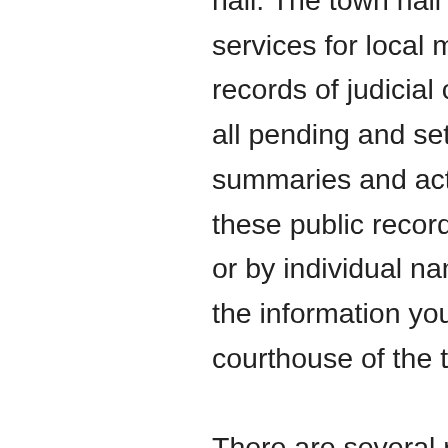hall. The town hall provides administrative services for local municipalities and may keep records of judicial cases. You can view dockets of all pending and settled cases, as well as case summaries and activities. You can search through these public records in Hopkins County by name or by individual name. If you're not sure how to get the information you need, try contacting the courthouse of the town in which the person lives.

There are several reasons to look for vital records in Hopkins County. You